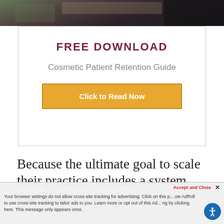[Figure (photo): Cropped top portion of a photo showing a person in front of a screen/display, partially visible]
FREE DOWNLOAD
Cosmetic Patient Retention Guide
Click to Read Now
Because the ultimate goal to scale their practice includes a system that attracts a steady stream of cash-paying patients WITHOUT spending a fortune on advertising, chasing down leads, hiring more staff, and performing on so
Accept and Close ✕ Your browser settings do not allow cross-site tracking for advertising. Click on this p... ow AdRoll to use cross-site tracking to tailor ads to you. Learn more or opt out of this Ad... ng by clicking here. This message only appears once. ...performing on so